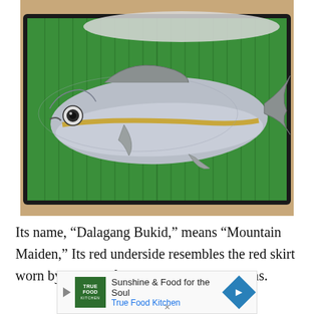[Figure (photo): A raw fish (Dalagang Bukid / Yellowstripe Scad) placed on a green banana leaf on a dark tray. The fish is silver with a golden-yellow lateral stripe, viewed from the side. Another lighter-colored fish is partially visible at the top.]
Its name, “Dalagang Bukid,” means “Mountain Maiden,” Its red underside resembles the red skirt worn by Filipina farm girls in the mountains.
[Figure (other): Advertisement banner: True Food Kitchen - Sunshine & Food for the Soul]